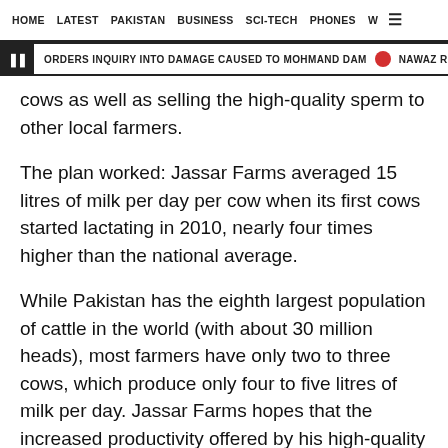HOME  LATEST  PAKISTAN  BUSINESS  SCI-TECH  PHONES  W ☰
ORDERS INQUIRY INTO DAMAGE CAUSED TO MOHMAND DAM  •  NAWAZ RETURNS
cows as well as selling the high-quality sperm to other local farmers.
The plan worked: Jassar Farms averaged 15 litres of milk per day per cow when its first cows started lactating in 2010, nearly four times higher than the national average.
While Pakistan has the eighth largest population of cattle in the world (with about 30 million heads), most farmers have only two to three cows, which produce only four to five litres of milk per day. Jassar Farms hopes that the increased productivity offered by his high-quality bull semen will help raise the incomes of Pakistan's cattle farmers, most of whom are amongst the poorest people in the country.